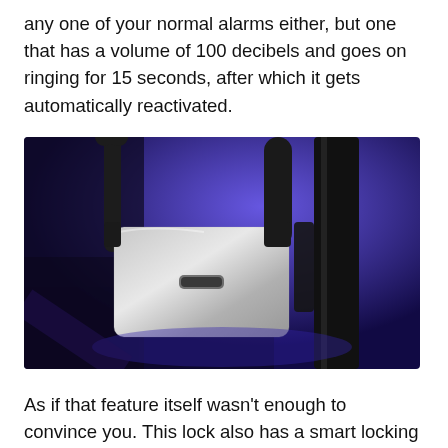any one of your normal alarms either, but one that has a volume of 100 decibels and goes on ringing for 15 seconds, after which it gets automatically reactivated.
[Figure (photo): Close-up photo of a smart bicycle U-lock with a silver metallic body secured to a black pole/bar, with a blue/purple background lighting.]
As if that feature itself wasn't enough to convince you. This lock also has a smart locking system equipped with Bluetooth for